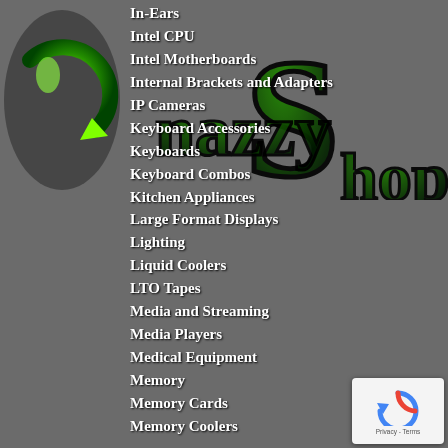[Figure (logo): Snazzy Shop logo with dark green stylized letters S and 'nazzy' and 'hop' text on grey background, with green circular arrow icon on left]
In-Ears
Intel CPU
Intel Motherboards
Internal Brackets and Adapters
IP Cameras
Keyboard Accessories
Keyboards
Keyboard Combos
Kitchen Appliances
Large Format Displays
Lighting
Liquid Coolers
LTO Tapes
Media and Streaming
Media Players
Medical Equipment
Memory
Memory Cards
Memory Coolers
[Figure (logo): Google reCAPTCHA badge with circular arrow icon and Privacy - Terms text]